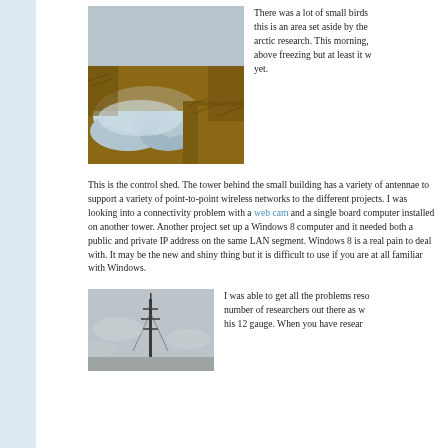[Figure (photo): Arctic tundra landscape with icy water pools and orange-brown vegetation]
There was a lot of small birds this is an area set aside by the arctic research. This morning, above freezing but at least it w yet.
This is the control shed. The tower behind the small building has a variety of antennae to support a variety of point-to-point wireless networks to the different projects. I was looking into a connectivity problem with a web cam and a single board computer installed on another tower. Another project set up a Windows 8 computer and it needed both a public and private IP address on the same LAN segment. Windows 8 is a real pain to deal with. It may be the new and shiny thing but it is difficult to use if you are at all familiar with Windows.
[Figure (photo): Foggy landscape with a communication tower silhouetted in the mist]
I was able to get all the problems reso number of researchers out there as w his 12 gauge. When you have resear